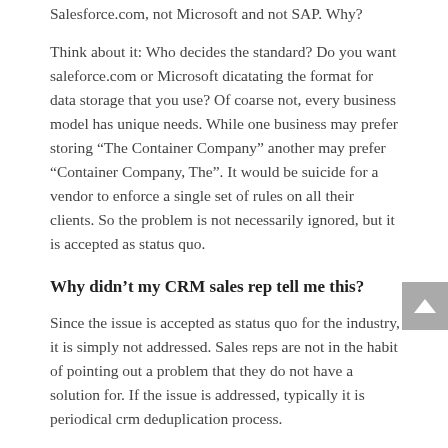Salesforce.com, not Microsoft and not SAP. Why?
Think about it: Who decides the standard? Do you want saleforce.com or Microsoft dicatating the format for data storage that you use? Of coarse not, every business model has unique needs. While one business may prefer storing “The Container Company” another may prefer “Container Company, The”. It would be suicide for a vendor to enforce a single set of rules on all their clients. So the problem is not necessarily ignored, but it is accepted as status quo.
Why didn’t my CRM sales rep tell me this?
Since the issue is accepted as status quo for the industry, it is simply not addressed. Sales reps are not in the habit of pointing out a problem that they do not have a solution for. If the issue is addressed, typically it is periodical crm deduplication process.